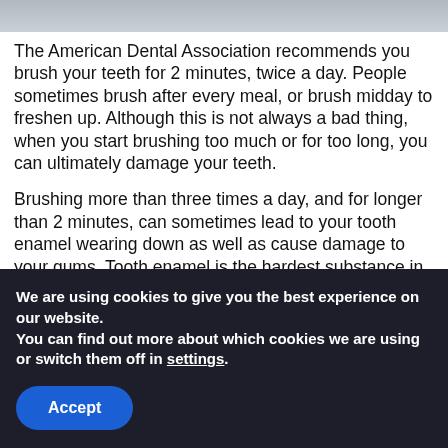[Figure (photo): Partial image at top of page, appears to be a photo related to dental/brushing topic]
The American Dental Association recommends you brush your teeth for 2 minutes, twice a day. People sometimes brush after every meal, or brush midday to freshen up. Although this is not always a bad thing, when you start brushing too much or for too long, you can ultimately damage your teeth.
Brushing more than three times a day, and for longer than 2 minutes, can sometimes lead to your tooth enamel wearing down as well as cause damage to your gums. Tooth enamel is the hardest substance in the human body and helps fight against tooth decay. Over-brushing can damage this shield and cause teeth to become sensitive and prone to cavities.
We are using cookies to give you the best experience on our website.
You can find out more about which cookies we are using or switch them off in settings.
Accept